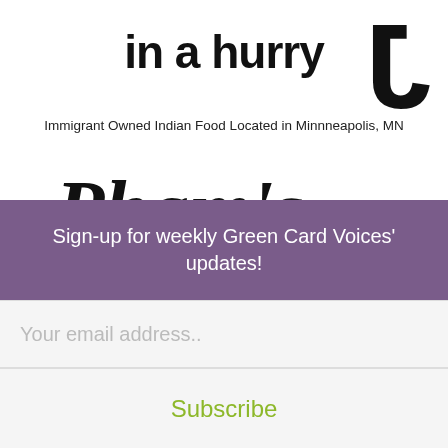[Figure (logo): Partial logo text reading 'in a hurry' with a curved swoosh/J shape on the right side, black text on white background]
Immigrant Owned Indian Food Located in Minnneapolis, MN
[Figure (logo): Pham's Rice Bowl logo in cursive/script black lettering, partially visible with a small green bar accent]
[Figure (other): Purple square button with white downward triangle/arrow]
Sign-up for weekly Green Card Voices' updates!
Your email address..
Subscribe